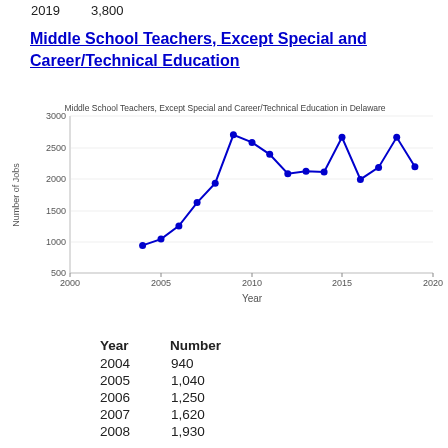| Year | Number |
| --- | --- |
| 2019 | 3,800 |
Middle School Teachers, Except Special and Career/Technical Education
[Figure (line-chart): Middle School Teachers, Except Special and Career/Technical Education in Delaware]
| Year | Number |
| --- | --- |
| 2004 | 940 |
| 2005 | 1,040 |
| 2006 | 1,250 |
| 2007 | 1,620 |
| 2008 | 1,930 |